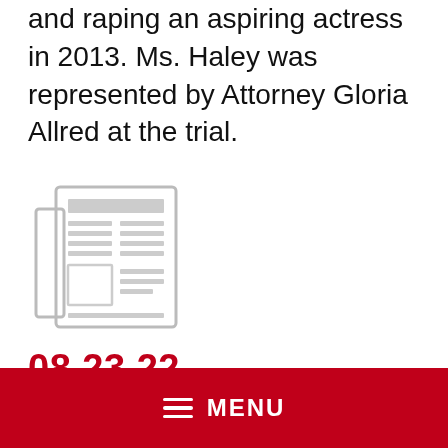and raping an aspiring actress in 2013. Ms. Haley was represented by Attorney Gloria Allred at the trial.
[Figure (illustration): Newspaper icon graphic in light gray]
08.23.22
New York Times - Elizabeth Williams is a courtroom artist with a canny eye for style. A former fashion illustrator, she is tasked with rendering charged portraits of
MENU